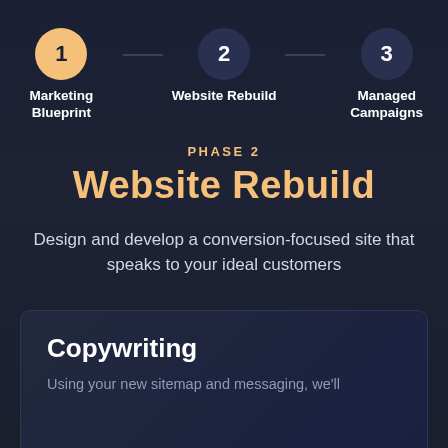[Figure (infographic): Three-step progress indicator showing: Step 1 (active, gold circle) - Marketing Blueprint, Step 2 (dark circle) - Website Rebuild, Step 3 (dark circle) - Managed Campaigns]
PHASE 2
Website Rebuild
Design and develop a conversion-focused site that speaks to your ideal customers
Copywriting
Using your new sitemap and messaging, we'll